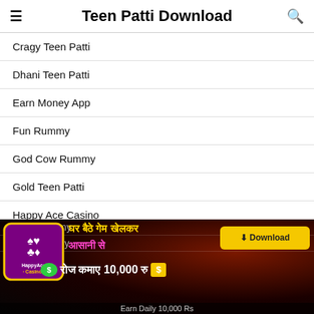Teen Patti Download
Cragy Teen Patti
Dhani Teen Patti
Earn Money App
Fun Rummy
God Cow Rummy
Gold Teen Patti
Happy Ace Casino
Happy Teenpatti
Hello Rummy
Hool Rummy
Holy Rum
[Figure (screenshot): HappyAce Casino advertisement banner with Hindi text: घर बैठे गेम खेलकर आसानी से रोज कमाए 10,000 रु, with a Download button and logo. Caption: Earn Daily 10,000 Rs]
Earn Daily 10,000 Rs